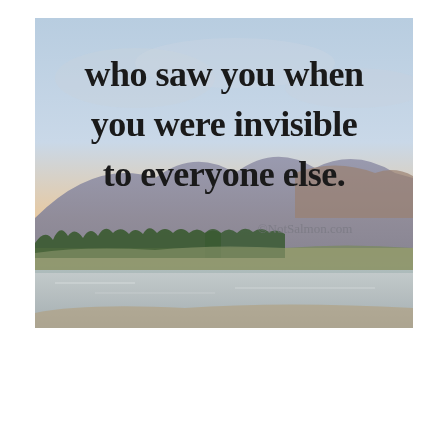[Figure (illustration): A watercolor painting of a mountain landscape with a lake or river in the foreground, trees along the shoreline, and a sky with soft pink and blue hues at sunset/sunrise. Overlaid on the upper portion of the painting is large bold serif text reading 'who saw you when you were invisible to everyone else.' with a watermark '©NotSalmon.com' in the middle-right area.]